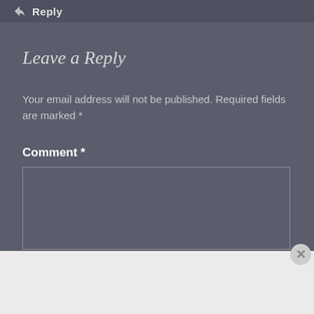Reply
Leave a Reply
Your email address will not be published. Required fields are marked *
Comment *
[Figure (screenshot): Empty comment text area input box with light border on dark grey background]
[Figure (screenshot): DuckDuckGo advertisement banner: orange section with 'Search, browse, and email with more privacy. All in One Free App' and dark section with DuckDuckGo duck logo]
Advertisements